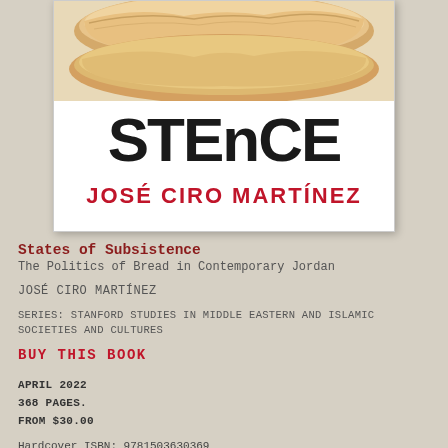[Figure (illustration): Book cover of 'States of Subsistence' showing flatbread at top, large bold text 'STENCE' in black, and author name 'JOSÉ CIRO MARTÍNEZ' in red]
States of Subsistence
The Politics of Bread in Contemporary Jordan
JOSÉ CIRO MARTÍNEZ
SERIES: STANFORD STUDIES IN MIDDLE EASTERN AND ISLAMIC SOCIETIES AND CULTURES
BUY THIS BOOK
APRIL 2022
368 PAGES.
FROM $30.00
Hardcover ISBN: 9781503630369